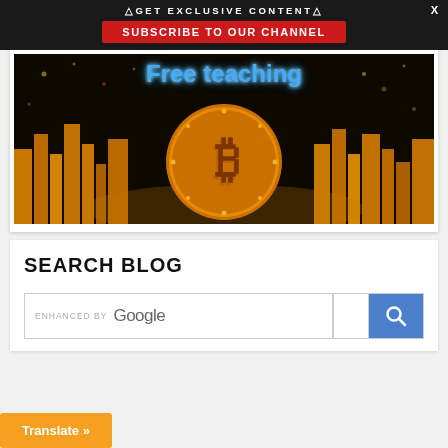△GET EXCLUSIVE CONTENT△
SUBSCRIBE TO OUR CHANNEL
[Figure (illustration): Free teaching Bitcoin cryptocurrency promotional banner with golden Bitcoin coin and city skyline background]
SEARCH BLOG
[Figure (screenshot): Google enhanced search box with search button]
Translate »